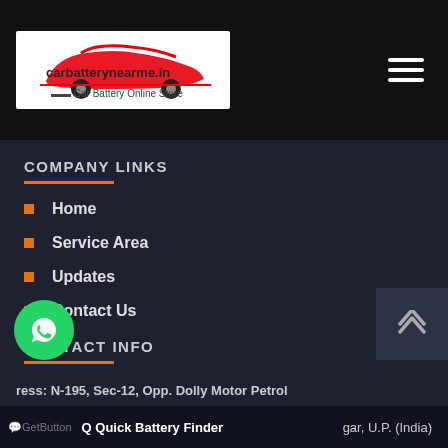[Figure (logo): carbatterynearme.in website logo with red car silhouette and text 'Car Battery Online Store']
COMPANY LINKS
Home
Service Area
Updates
Contact Us
CONTACT INFO
Address: N-195, Sec-12, Opp. Dolly Motor Petrol ... gar, U.P. (India)
Q Quick Battery Finder